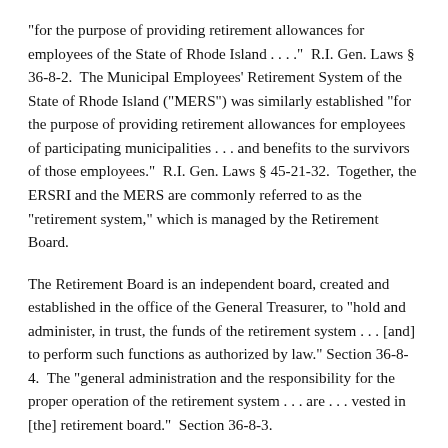"for the purpose of providing retirement allowances for employees of the State of Rhode Island . . . ." R.I. Gen. Laws § 36-8-2. The Municipal Employees' Retirement System of the State of Rhode Island ("MERS") was similarly established "for the purpose of providing retirement allowances for employees of participating municipalities . . . and benefits to the survivors of those employees." R.I. Gen. Laws § 45-21-32. Together, the ERSRI and the MERS are commonly referred to as the "retirement system," which is managed by the Retirement Board.
The Retirement Board is an independent board, created and established in the office of the General Treasurer, to "hold and administer, in trust, the funds of the retirement system . . . [and] to perform such functions as authorized by law." Section 36-8-4. The "general administration and the responsibility for the proper operation of the retirement system . . . are . . . vested in [the] retirement board." Section 36-8-3.